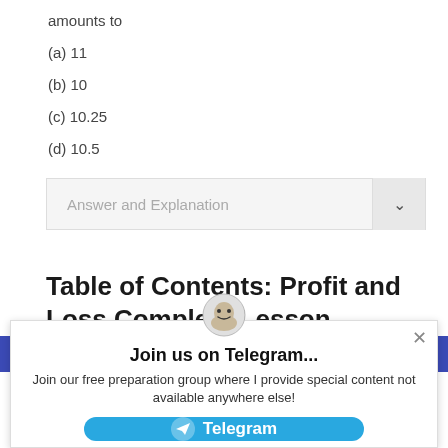amounts to
(a) 11
(b) 10
(c) 10.25
(d) 10.5
Answer and Explanation
Table of Contents: Profit and Loss Complete Lesson
Join us on Telegram...
Join our free preparation group where I provide special content not available anywhere else!
Telegram